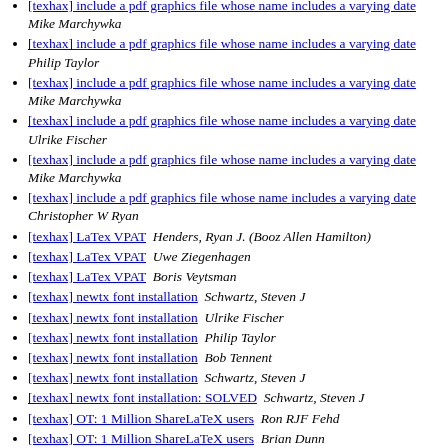[texhax] include a pdf graphics file whose name includes a varying date  Mike Marchywka
[texhax] include a pdf graphics file whose name includes a varying date  Philip Taylor
[texhax] include a pdf graphics file whose name includes a varying date  Mike Marchywka
[texhax] include a pdf graphics file whose name includes a varying date  Ulrike Fischer
[texhax] include a pdf graphics file whose name includes a varying date  Mike Marchywka
[texhax] include a pdf graphics file whose name includes a varying date  Christopher W Ryan
[texhax] LaTex VPAT  Henders, Ryan J. (Booz Allen Hamilton)
[texhax] LaTex VPAT  Uwe Ziegenhagen
[texhax] LaTex VPAT  Boris Veytsman
[texhax] newtx font installation  Schwartz, Steven J
[texhax] newtx font installation  Ulrike Fischer
[texhax] newtx font installation  Philip Taylor
[texhax] newtx font installation  Bob Tennent
[texhax] newtx font installation  Schwartz, Steven J
[texhax] newtx font installation: SOLVED  Schwartz, Steven J
[texhax] OT: 1 Million ShareLaTeX users  Ron RJF Fehd
[texhax] OT: 1 Million ShareLaTeX users  Brian Dunn
[texhax] Regarding fixing of error "scproc.cls not found" in ...